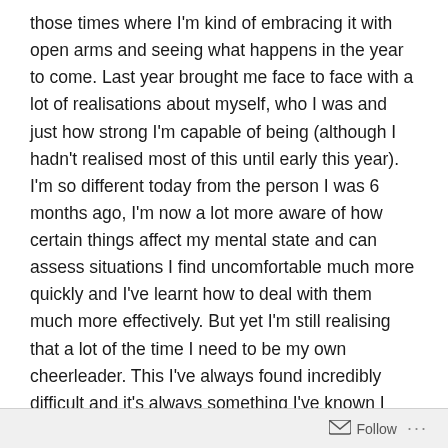those times where I'm kind of embracing it with open arms and seeing what happens in the year to come. Last year brought me face to face with a lot of realisations about myself, who I was and just how strong I'm capable of being (although I hadn't realised most of this until early this year). I'm so different today from the person I was 6 months ago, I'm now a lot more aware of how certain things affect my mental state and can assess situations I find uncomfortable much more quickly and I've learnt how to deal with them much more effectively. But yet I'm still realising that a lot of the time I need to be my own cheerleader. This I've always found incredibly difficult and it's always something I've known I need to work on. I just suck at it basically. I'm not one to champion myself and constantly wait for the approval of others, whenever I received feedback from tutors at university I got this note every single time and it's one of the notes they gave me that they're actually right about.
Follow